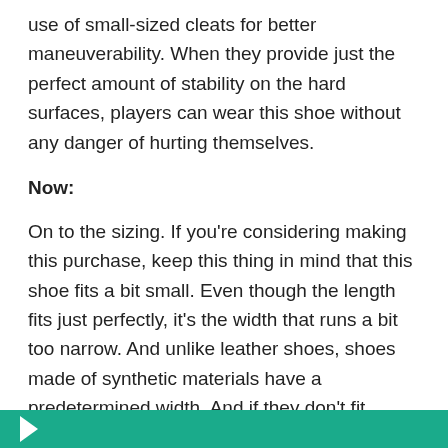use of small-sized cleats for better maneuverability. When they provide just the perfect amount of stability on the hard surfaces, players can wear this shoe without any danger of hurting themselves.
Now:
On to the sizing. If you're considering making this purchase, keep this thing in mind that this shoe fits a bit small. Even though the length fits just perfectly, it's the width that runs a bit too narrow. And unlike leather shoes, shoes made of synthetic materials have a predetermined width. And if they don't fit properly at the start, this shoe is never going to fit properly even with the passage of time.
So as per your feet dimensions, you can order a half or even a full size larger for a perfect fit.
[Figure (other): Teal/green call-to-action button bar at the bottom of the page with a white arrow icon]